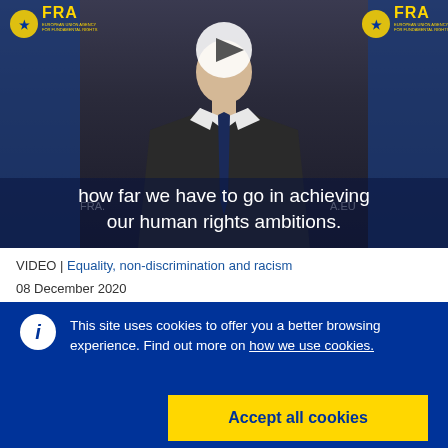[Figure (screenshot): Video thumbnail showing a man in a suit in front of FRA (European Union Agency for Fundamental Rights) backdrop with a play button overlay. Text overlay reads 'how far we have to go in achieving our human rights ambitions.']
VIDEO | Equality, non-discrimination and racism
08 December 2020
This site uses cookies to offer you a better browsing experience. Find out more on how we use cookies.
Accept all cookies
Accept only essential cookies